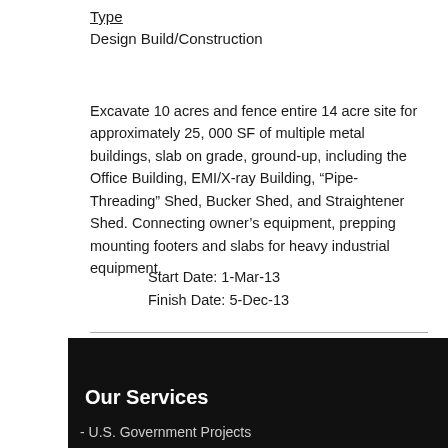Type
Design Build/Construction
Excavate 10 acres and fence entire 14 acre site for approximately 25, 000 SF of multiple metal buildings, slab on grade, ground-up, including the Office Building, EMI/X-ray Building, “Pipe-Threading” Shed, Bucker Shed, and Straightener Shed. Connecting owner’s equipment, prepping mounting footers and slabs for heavy industrial equipment.
Start Date: 1-Mar-13
Finish Date: 5-Dec-13
Our Services
- U.S. Government Projects